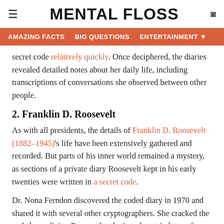MENTAL FLOSS
AMAZING FACTS   BIG QUESTIONS   ENTERTAINMENT
secret code relatively quickly. Once deciphered, the diaries revealed detailed notes about her daily life, including transcriptions of conversations she observed between other people.
2. Franklin D. Roosevelt
As with all presidents, the details of Franklin D. Roosevelt (1882–1945)'s life have been extensively gathered and recorded. But parts of his inner world remained a mystery, as sections of a private diary Roosevelt kept in his early twenties were written in a secret code.
Dr. Nona Ferndon discovered the coded diary in 1970 and shared it with several other cryptographers. She cracked the code by realizing Roosevelt substituted certain letters for